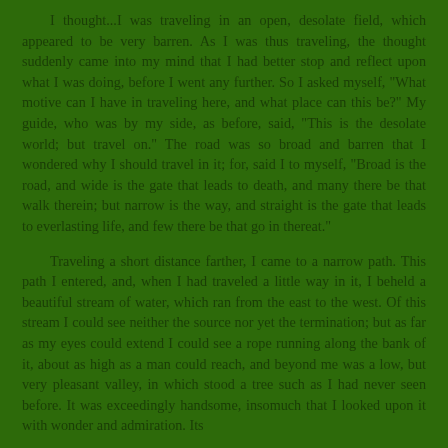I thought...I was traveling in an open, desolate field, which appeared to be very barren. As I was thus traveling, the thought suddenly came into my mind that I had better stop and reflect upon what I was doing, before I went any further. So I asked myself, "What motive can I have in traveling here, and what place can this be?" My guide, who was by my side, as before, said, "This is the desolate world; but travel on." The road was so broad and barren that I wondered why I should travel in it; for, said I to myself, "Broad is the road, and wide is the gate that leads to death, and many there be that walk therein; but narrow is the way, and straight is the gate that leads to everlasting life, and few there be that go in thereat."
Traveling a short distance farther, I came to a narrow path. This path I entered, and, when I had traveled a little way in it, I beheld a beautiful stream of water, which ran from the east to the west. Of this stream I could see neither the source nor yet the termination; but as far as my eyes could extend I could see a rope running along the bank of it, about as high as a man could reach, and beyond me was a low, but very pleasant valley, in which stood a tree such as I had never seen before. It was exceedingly handsome, insomuch that I looked upon it with wonder and admiration. Its